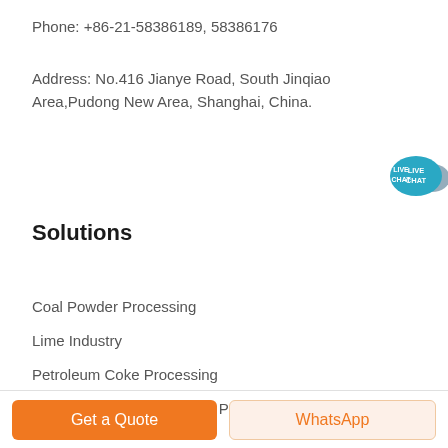Phone: +86-21-58386189, 58386176
Address: No.416 Jianye Road, South Jinqiao Area,Pudong New Area, Shanghai, China.
[Figure (illustration): Live Chat speech bubble button icon in teal color with text LIVE CHAT]
Solutions
Coal Powder Processing
Lime Industry
Petroleum Coke Processing
Ground Calcium Carbonate Processing
Get a Quote
WhatsApp